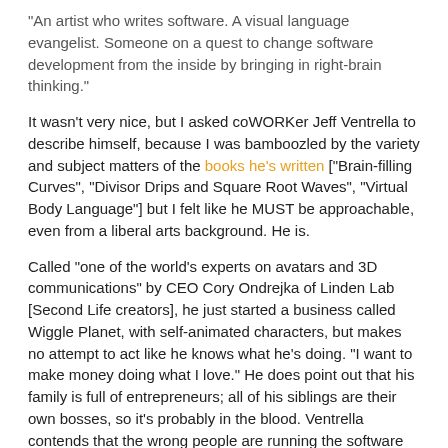“An artist who writes software. A visual language evangelist. Someone on a quest to change software development from the inside by bringing in right-brain thinking.”
It wasn’t very nice, but I asked coWORKer Jeff Ventrella to describe himself, because I was bamboozled by the variety and subject matters of the books he’s written [“Brain-filling Curves”, “Divisor Drips and Square Root Waves”, “Virtual Body Language”] but I felt like he MUST be approachable, even from a liberal arts background. He is.
Called “one of the world’s experts on avatars and 3D communications” by CEO Cory Ondrejka of Linden Lab [Second Life creators], he just started a business called Wiggle Planet, with self-animated characters, but makes no attempt to act like he knows what he’s doing. “I want to make money doing what I love.” He does point out that his family is full of entrepreneurs; all of his siblings are their own bosses, so it’s probably in the blood. Ventrella contends that the wrong people are running the software industry, which, as we all know, is running our lives, and he’s out to change it from the